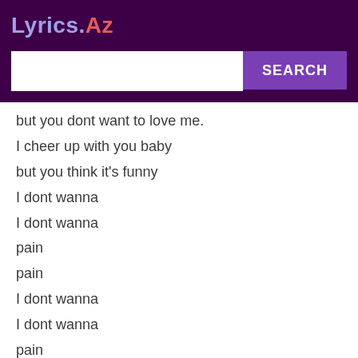Lyrics.Az
but you dont want to love me.
I cheer up with you baby
but you think it's funny
I dont wanna
I dont wanna
pain
pain
I dont wanna
I dont wanna
pain
pain
i just wanna be painless
Livin' The Life
Livin' The Life.
La La, La La